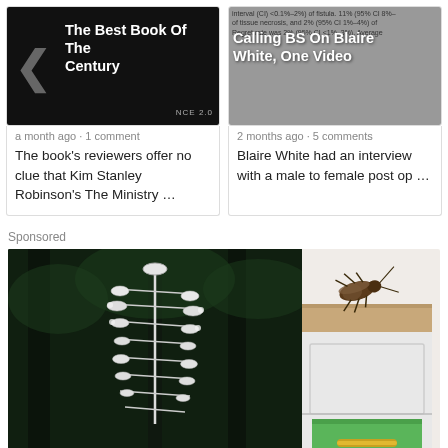[Figure (screenshot): Card thumbnail: dark background with arrow icon and white bold text 'The Best Book Of The Century']
a month ago · 1 comment
The book's reviewers offer no clue that Kim Stanley Robinson's The Ministry …
[Figure (screenshot): Card thumbnail: grey background with text overlay 'Calling BS On Blaire White, One Video' and medical text in background]
2 months ago · 5 comments
Blaire White had an interview with a male to female post op …
Sponsored
[Figure (photo): Photo of a white kinetic wind sculpture resembling a large centipede or skeletal structure, outdoors among dark green trees]
[Figure (illustration): Cartoon illustration of a cockroach on a kitchen counter/cabinet edge]